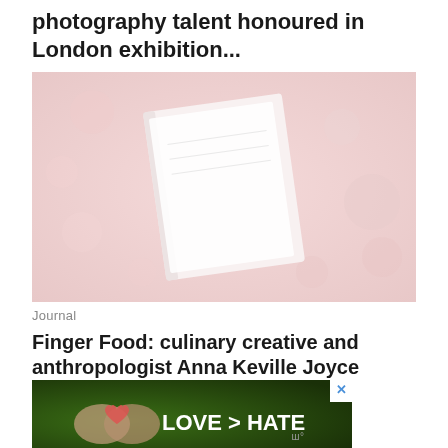photography talent honoured in London exhibition...
[Figure (photo): Overhead view of an open notebook/journal surrounded by decorative elements on a pinkish-red background, pale and washed out appearance]
Journal
Finger Food: culinary creative and anthropologist Anna Keville Joyce shows us [the food...]
[Figure (photo): Advertisement banner showing hands making a heart shape against a green background with text 'LOVE > HATE' and a close button X]